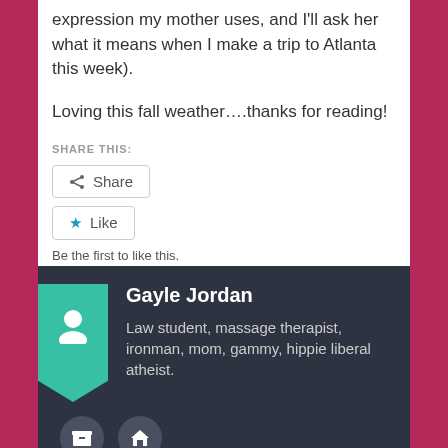expression my mother uses, and I'll ask her what it means when I make a trip to Atlanta this week).
Loving this fall weather....thanks for reading!
SHARE THIS:
Share
Like
Be the first to like this.
Gayle Jordan
Law student, massage therapist, ironman, mom, gammy, hippie liberal atheist.